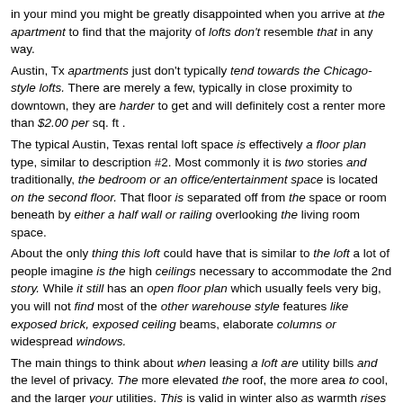in your mind you might be greatly disappointed when you arrive at the apartment to find that the majority of lofts don't resemble that in any way. Austin, Tx apartments just don't typically tend towards the Chicago-style lofts. There are merely a few, typically in close proximity to downtown, they are harder to get and will definitely cost a renter more than $2.00 per sq. ft . The typical Austin, Texas rental loft space is effectively a floor plan type, similar to description #2. Most commonly it is two stories and traditionally, the bedroom or an office/entertainment space is located on the second floor. That floor is separated off from the space or room beneath by either a half wall or railing overlooking the living room space. About the only thing this loft could have that is similar to the loft a lot of people imagine is the high ceilings necessary to accommodate the 2nd story. While it still has an open floor plan which usually feels very big, you will not find most of the other warehouse style features like exposed brick, exposed ceiling beams, elaborate columns or widespread windows. The main things to think about when leasing a loft are utility bills and the level of privacy. The more elevated the roof, the more area to cool, and the larger your utilities. This is valid in winter also as warmth rises and it'll take much more to warm your area. Level of privacy might be a concern if you are considering the loft